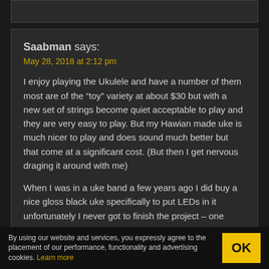Saabman says:
May 28, 2018 at 2:12 pm
I enjoy playing the Ukulele and have a number of them most are of the “toy” variety at about $30 but with a new set of strings become quiet acceptable to play and they are very easy to play. But my Hawian made uke is much nicer to play and does sound much better but that come at a significant cost. (But then I get nervous draging it around with me)
When I was in a uke band a few years ago I did buy a nice gloss black uke specifically to put LEDs in it unfortunately I never got to finish the project – one
By using our website and services, you expressly agree to the placement of our performance, functionality and advertising cookies. Learn more